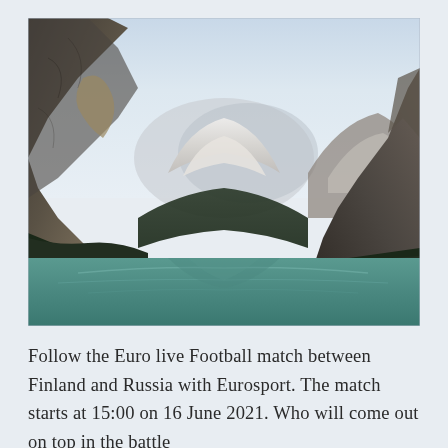[Figure (photo): Landscape photograph of a mountain lake (Lake Louise style) with steep rocky mountains on either side, snow-capped peaks in the background, and a calm turquoise lake reflecting the mountains. Sky is light blue with some haze.]
Follow the Euro live Football match between Finland and Russia with Eurosport. The match starts at 15:00 on 16 June 2021. Who will come out on top in the battle